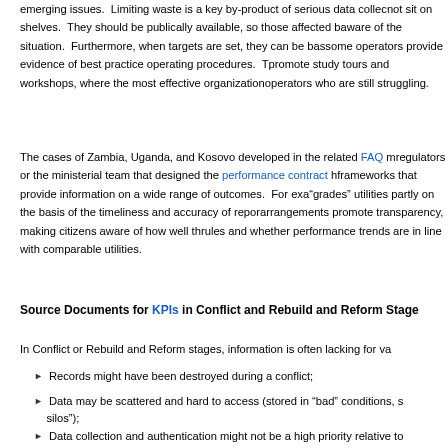emerging issues. Limiting waste is a key by-product of serious data collection that should not sit on shelves. They should be publically available, so those affected by tariffs are aware of the situation. Furthermore, when targets are set, they can be based in part on some operators provide evidence of best practice operating procedures. They also promote study tours and workshops, where the most effective organizations can advise operators who are still struggling.
The cases of Zambia, Uganda, and Kosovo developed in the related FAQ module show regulators or the ministerial team that designed the performance contract have developed frameworks that provide information on a wide range of outcomes. For example, Uganda “grades” utilities partly on the basis of the timeliness and accuracy of reporting. These arrangements promote transparency, making citizens aware of how well the utility is following rules and whether performance trends are in line with comparable utilities.
Source Documents for KPIs in Conflict and Rebuild and Reform Stage
In Conflict or Rebuild and Reform stages, information is often lacking for various reasons:
Records might have been destroyed during a conflict;
Data may be scattered and hard to access (stored in “bad” conditions, silos”);
Data collection and authentication might not be a high priority relative to